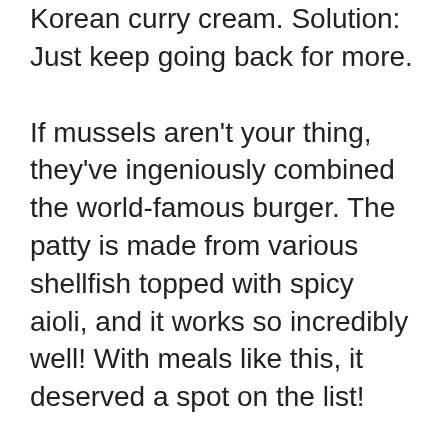Korean curry cream. Solution: Just keep going back for more.
If mussels aren't your thing, they've ingeniously combined the world-famous burger. The patty is made from various shellfish topped with spicy aioli, and it works so incredibly well! With meals like this, it deserved a spot on the list!
As for the venue? It wouldn't be an American bistro without its signature decor and cozy interior. With booths to provide a more intimate gathering or tables that allow for a bit more privacy, there are plenty of seating choices. And as mentioned, it's a family affair, so don't